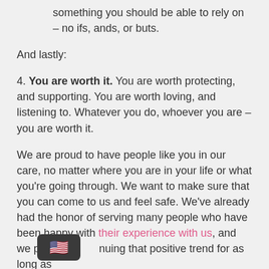something you should be able to rely on – no ifs, ands, or buts.
And lastly:
4. You are worth it. You are worth protecting, and supporting. You are worth loving, and listening to. Whatever you do, whoever you are – you are worth it.
We are proud to have people like you in our care, no matter where you are in your life or what you're going through. We want to make sure that you can come to us and feel safe. We've already had the honor of serving many people who have been happy with their experience with us, and we plan on continuing that positive trend for as long as